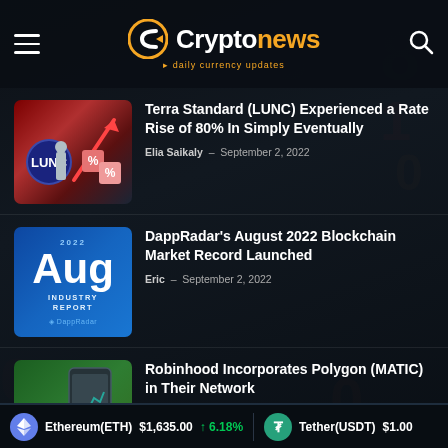Cryptonews - daily currency updates
Terra Standard (LUNC) Experienced a Rate Rise of 80% In Simply Eventually
Elia Saikaly - September 2, 2022
DappRadar's August 2022 Blockchain Market Record Launched
Eric - September 2, 2022
Robinhood Incorporates Polygon (MATIC) in Their Network
Eman - September 2, 2022
Ethereum(ETH) $1,635.00 ↑ 6.18% | Tether(USDT) $1.00